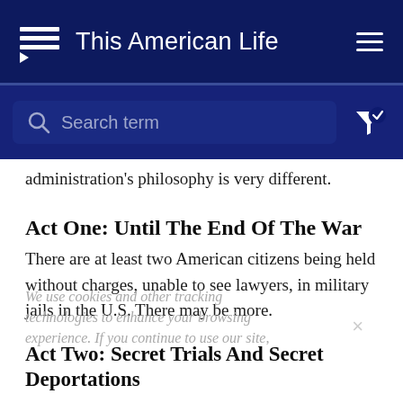This American Life
[Figure (screenshot): Search bar with magnifying glass icon and placeholder text 'Search term', with filter icon on right]
administration's philosophy is very different.
Act One: Until The End Of The War
There are at least two American citizens being held without charges, unable to see lawyers, in military jails in the U.S. There may be more.
We use cookies and other tracking technologies to enhance your browsing experience. If you continue to use our site,
Act Two: Secret Trials And Secret Deportations
In the war on terror, the government is rounding up foreigners, checking their immigration status, and then,